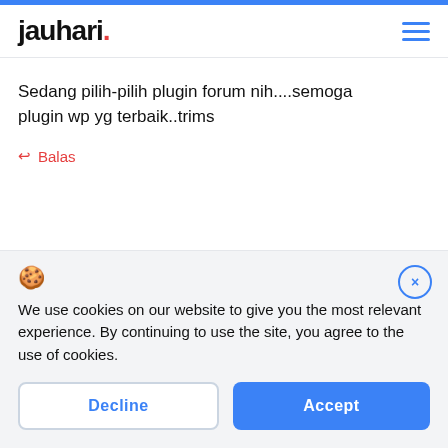jauhari.
Sedang pilih-pilih plugin forum nih....semoga plugin wp yg terbaik..trims
↩ Balas
[Figure (screenshot): Cookie consent banner with cookie icon, close button (×), message text, and Decline/Accept buttons]
We use cookies on our website to give you the most relevant experience. By continuing to use the site, you agree to the use of cookies.